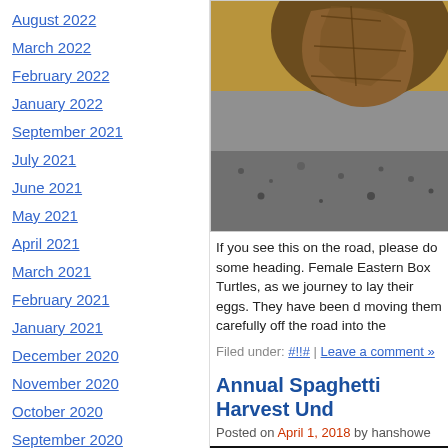August 2022
March 2022
February 2022
January 2022
September 2021
July 2021
June 2021
May 2021
April 2021
March 2021
February 2021
January 2021
December 2020
November 2020
October 2020
September 2020
August 2020
[Figure (photo): Close-up photo of an Eastern Box Turtle shell on sandy/gravelly ground]
If you see this on the road, please do some heading. Female Eastern Box Turtles, as we journey to lay their eggs. They have been d moving them carefully off the road into the
Filed under: #!!# | Leave a comment »
Annual Spaghetti Harvest Und
Posted on April 1, 2018 by hanshowe
[Figure (photo): Dark/black image at bottom of post]